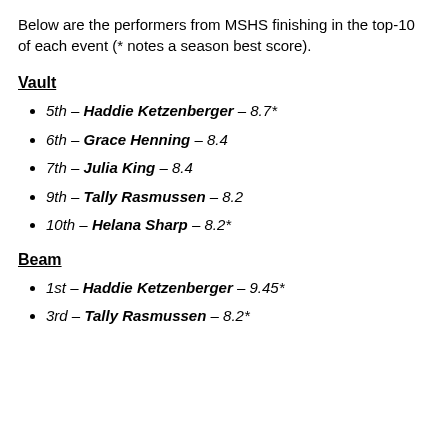Below are the performers from MSHS finishing in the top-10 of each event (* notes a season best score).
Vault
5th – Haddie Ketzenberger – 8.7*
6th – Grace Henning – 8.4
7th – Julia King – 8.4
9th – Tally Rasmussen – 8.2
10th – Helana Sharp – 8.2*
Beam
1st – Haddie Ketzenberger – 9.45*
3rd – Tally Rasmussen – 8.2*